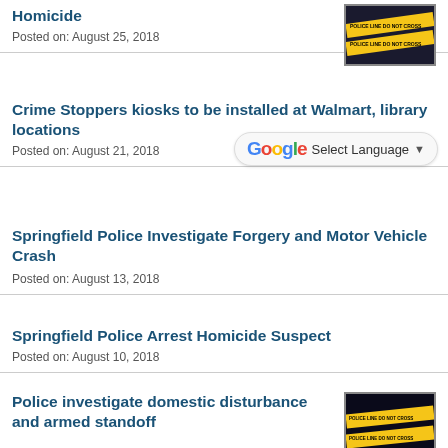Homicide
Posted on: August 25, 2018
[Figure (photo): Police line do not cross yellow tape image]
Crime Stoppers kiosks to be installed at Walmart, library locations
Posted on: August 21, 2018
Springfield Police Investigate Forgery and Motor Vehicle Crash
Posted on: August 13, 2018
Springfield Police Arrest Homicide Suspect
Posted on: August 10, 2018
Police investigate domestic disturbance and armed standoff
Posted on: August 10, 2018
[Figure (photo): Police line do not cross yellow tape image]
Springfield police locate missing person John Thomas, safe and unharmed.
Posted on: August 7, 2018
[Figure (photo): Photo of John Thomas, a man]